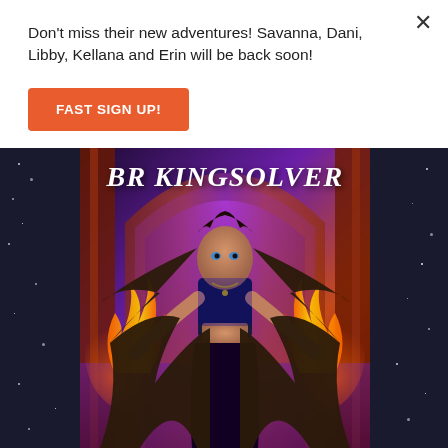Don't miss their new adventures! Savanna, Dani, Libby, Kellana and Erin will be back soon!
FAST SIGN UP!
[Figure (illustration): Book cover art for BR Kingsolver featuring a young woman with long flowing dark hair wearing a dark crop top, holding fire in both hands, standing in front of a dramatic purple and orange arch. The author name 'BR KINGSOLVER' appears at the top in white stylized text on a dark starfield background.]